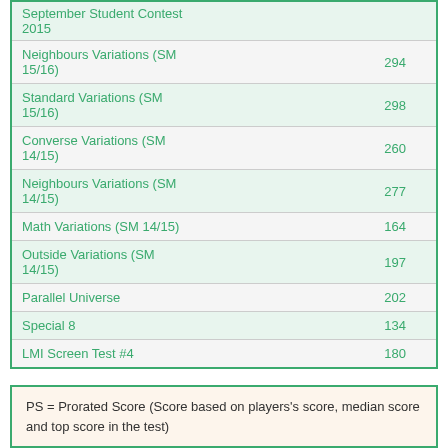|  |  |
| --- | --- |
| September Student Contest 2015 |  |
| Neighbours Variations (SM 15/16) | 294 |
| Standard Variations (SM 15/16) | 298 |
| Converse Variations (SM 14/15) | 260 |
| Neighbours Variations (SM 14/15) | 277 |
| Math Variations (SM 14/15) | 164 |
| Outside Variations (SM 14/15) | 197 |
| Parallel Universe | 202 |
| Special 8 | 134 |
| LMI Screen Test #4 | 180 |
PS = Prorated Score (Score based on players's score, median score and top score in the test)